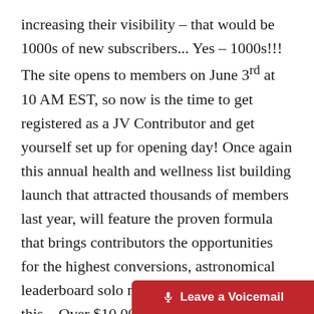increasing their visibility – that would be 1000s of new subscribers... Yes – 1000s!!! The site opens to members on June 3rd at 10 AM EST, so now is the time to get registered as a JV Contributor and get yourself set up for opening day! Once again this annual health and wellness list building launch that attracted thousands of members last year, will feature the proven formula that brings contributors the opportunities for the highest conversions, astronomical leaderboard solo mailings (200K!), and get this... Over $10,000 in Sales Contests, Prizes and
[Figure (other): Red 'Leave a Voicemail' button bar at the bottom right of the page with a microphone icon]